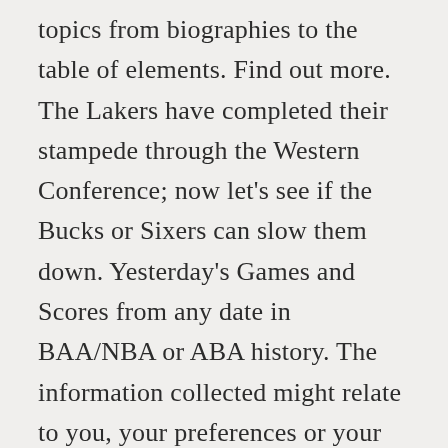topics from biographies to the table of elements. Find out more. The Lakers have completed their stampede through the Western Conference; now let's see if the Bucks or Sixers can slow them down. Yesterday's Games and Scores from any date in BAA/NBA or ABA history. The information collected might relate to you, your preferences or your device, and is mostly used to make the site work as you expect it to and to provide a more personalized web experience. The Los Angeles Lakers struck first in the 2020 NBA Finals with a 116-98 win over the Miami Heat in Game 1 on Wednesday night in Orlando. The 2001 NBA Finals was the championship round of the National Basketball Association (NBA)'s 2000–01